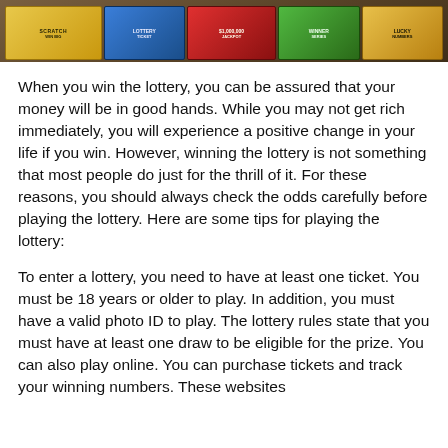[Figure (photo): A photograph of colorful lottery scratch tickets fanned out.]
When you win the lottery, you can be assured that your money will be in good hands. While you may not get rich immediately, you will experience a positive change in your life if you win. However, winning the lottery is not something that most people do just for the thrill of it. For these reasons, you should always check the odds carefully before playing the lottery. Here are some tips for playing the lottery:
To enter a lottery, you need to have at least one ticket. You must be 18 years or older to play. In addition, you must have a valid photo ID to play. The lottery rules state that you must have at least one draw to be eligible for the prize. You can also play online. You can purchase tickets and track your winning numbers. These websites